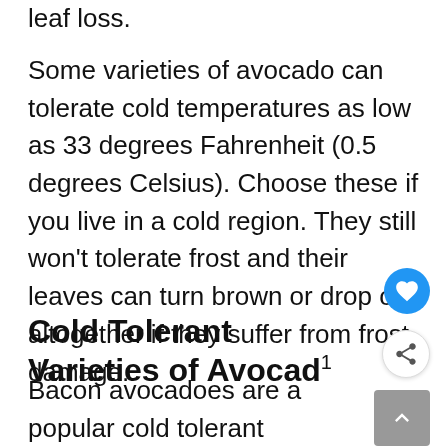leaf loss.
Some varieties of avocado can tolerate cold temperatures as low as 33 degrees Fahrenheit (0.5 degrees Celsius). Choose these if you live in a cold region. They still won’t tolerate frost and their leaves can turn brown or drop off altogether if they suffer from frost damage.
Cold Tolerant Varieties of Avocado
Bacon avocadoes are a popular cold tolerant avocado. Other cold tolerant avocado varieties that are less likely to loose their leaves in winter include Topa Topa, Chuca...